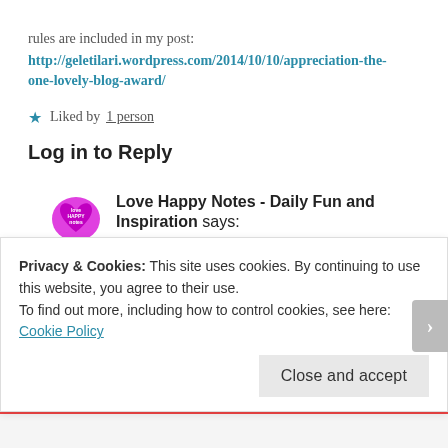rules are included in my post: http://geletilari.wordpress.com/2014/10/10/appreciation-the-one-lovely-blog-award/
Liked by 1 person
Log in to Reply
Love Happy Notes - Daily Fun and Inspiration says:
October 10, 2014 at 3:25 pm
Congratulations on your award! Thank you for the nomination. That is so kind of you. This is an award for...
Privacy & Cookies: This site uses cookies. By continuing to use this website, you agree to their use. To find out more, including how to control cookies, see here: Cookie Policy
Close and accept